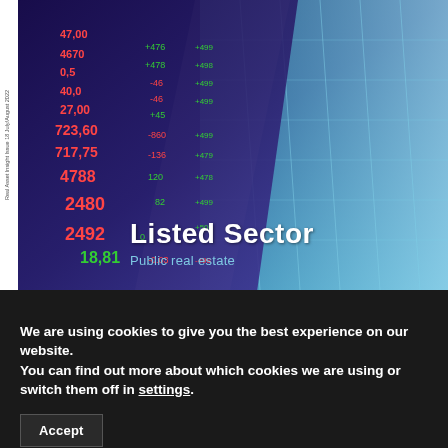[Figure (photo): Cover image showing a stock market ticker board with numbers in red and green overlaid with a glass building facade. Title reads 'Listed Sector' with subtitle 'Public real estate'. Small vertical text on left reads 'Real Asset Insight Issue 18 July/August 2022'.]
Listed Sector
Public real estate
We are using cookies to give you the best experience on our website.
You can find out more about which cookies we are using or switch them off in settings.
Accept